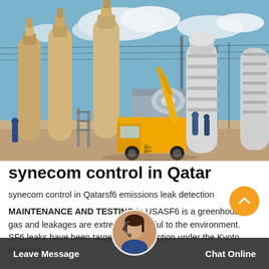[Figure (photo): Electrical substation with large transformer bushings and insulator columns in tan/beige color, a yellow utility truck/cherry picker in the background, workers visible, blue sky with clouds overhead. Industrial high-voltage equipment maintenance scene.]
synecom control in Qatar
synecom control in Qatarsf6 emissions leak detection

MAINTENANCE AND TESTING in USASF6 is a greenhouse gas and leakages are extremely harmful to the environment. SF6 leaks have been targeted for reduction under the Kyoto Protocol.